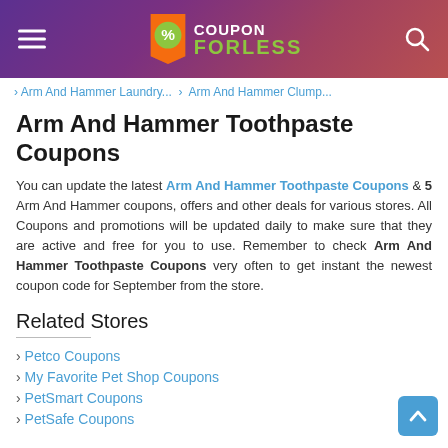COUPON FORLESS
› Arm And Hammer Laundry... › Arm And Hammer Clump...
Arm And Hammer Toothpaste Coupons
You can update the latest Arm And Hammer Toothpaste Coupons & 5 Arm And Hammer coupons, offers and other deals for various stores. All Coupons and promotions will be updated daily to make sure that they are active and free for you to use. Remember to check Arm And Hammer Toothpaste Coupons very often to get instant the newest coupon code for September from the store.
Related Stores
› Petco Coupons
› My Favorite Pet Shop Coupons
› PetSmart Coupons
› PetSafe Coupons